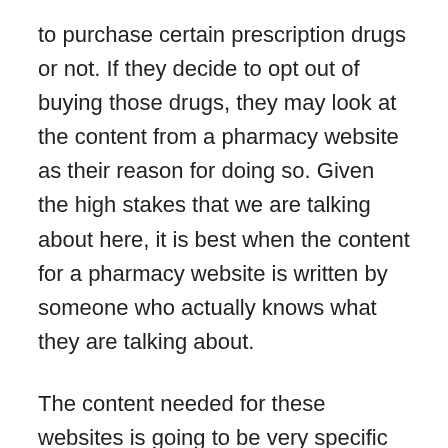to purchase certain prescription drugs or not. If they decide to opt out of buying those drugs, they may look at the content from a pharmacy website as their reason for doing so. Given the high stakes that we are talking about here, it is best when the content for a pharmacy website is written by someone who actually knows what they are talking about.
The content needed for these websites is going to be very specific in the details that it lays out for people, and it is going to be something that certain people look at as a resource that they can lean on. If they start to feel like they are unable to trust the information they get from a website like this, then they may not want to do business with the pharmacy at all. Obviously, that would be a very big